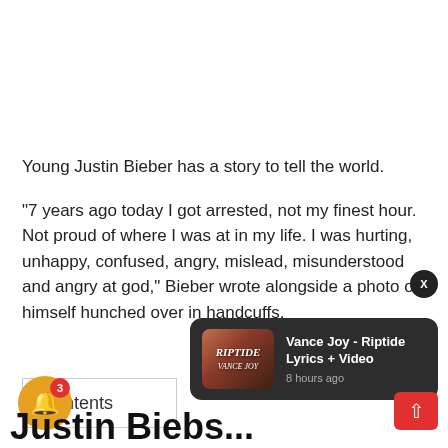Young Justin Bieber has a story to tell the world.
“7 years ago today I got arrested, not my finest hour. Not proud of where I was at in my life. I was hurting, unhappy, confused, angry, mislead, misunderstood and angry at god,” Bieber wrote alongside a photo of himself hunched over in handcuffs.
Contents
[Figure (screenshot): Notification popup for 'Vance Joy - Riptide Lyrics + Video' with thumbnail showing RIPTIDE text over a sunset sky, timestamp '8 hours ago']
Justin Biebs...